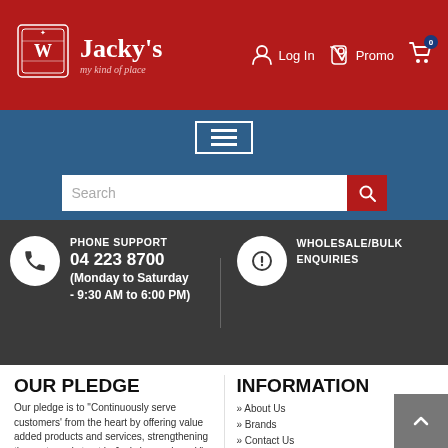[Figure (logo): Jacky's logo with crest, brand name 'Jacky's' and tagline 'my kind of place' on red header bar with Log In, Promo, and cart icons]
[Figure (screenshot): Blue navigation bar with hamburger menu button (three horizontal lines in white border box)]
[Figure (screenshot): Search bar with text input placeholder 'Search' and red search button on blue background]
PHONE SUPPORT
04 223 8700
(Monday to Saturday - 9:30 AM to 6:00 PM)
WHOLESALE/BULK ENQUIRIES
OUR PLEDGE
Our pledge is to "Continuously serve customers' from the heart by offering value added products and services, strengthening the customer's trust in Jacky's as a brand."
INFORMATION
About Us
Brands
Contact Us
Stores
Pay Online and Store and Pickup